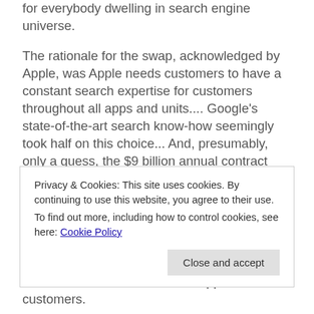for everybody dwelling in search engine universe.
The rationale for the swap, acknowledged by Apple, was Apple needs customers to have a constant search expertise for customers throughout all apps and units.... Google's state-of-the-art search know-how seemingly took half on this choice... And, presumably, only a guess, the $9 billion annual contract Google is now paying Apple to stay Apple's default search supplier on iOS units—I'll allow you to kind your individual opinion on regardless of the closing deciding
Privacy & Cookies: This site uses cookies. By continuing to use this website, you agree to their use.
To find out more, including how to control cookies, see here: Cookie Policy
customers. Excellent news for Apple customers.